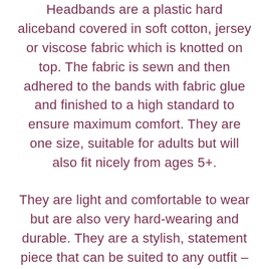Headbands are a plastic hard aliceband covered in soft cotton, jersey or viscose fabric which is knotted on top. The fabric is sewn and then adhered to the bands with fabric glue and finished to a high standard to ensure maximum comfort. They are one size, suitable for adults but will also fit nicely from ages 5+.
They are light and comfortable to wear but are also very hard-wearing and durable. They are a stylish, statement piece that can be suited to any outfit –